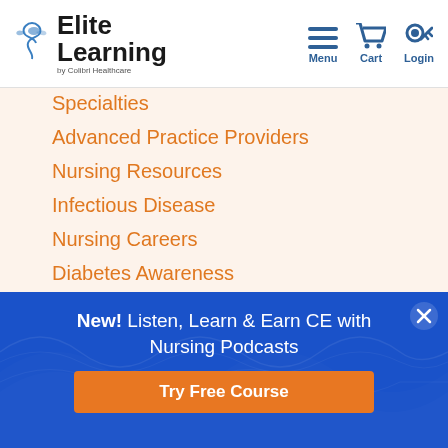Elite Learning by Colibri Healthcare — Menu, Cart, Login
Specialties
Advanced Practice Providers
Nursing Resources
Infectious Disease
Nursing Careers
Diabetes Awareness
Nurses Week 2019
New! Listen, Learn & Earn CE with Nursing Podcasts
Try Free Course